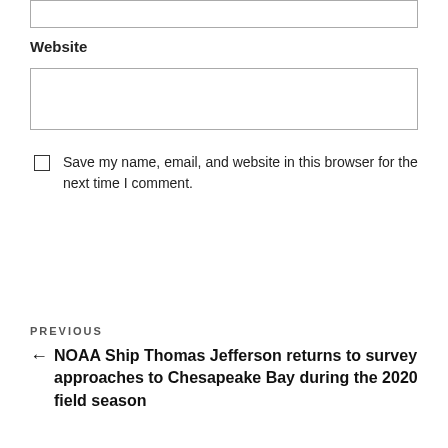[input box top]
Website
[website input field]
Save my name, email, and website in this browser for the next time I comment.
Post Comment
PREVIOUS
← NOAA Ship Thomas Jefferson returns to survey approaches to Chesapeake Bay during the 2020 field season